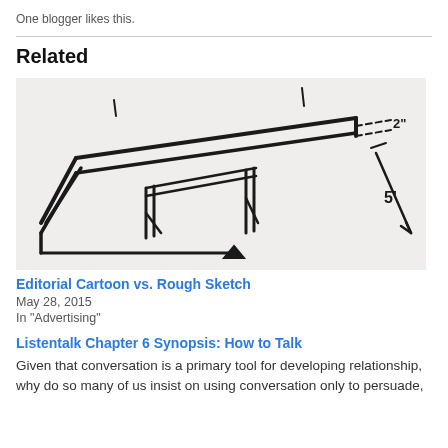One blogger likes this.
Related
[Figure (illustration): A rough hand-drawn sketch of a table or platform structure with dimension annotations showing 2" and 5']
Editorial Cartoon vs. Rough Sketch
May 28, 2015
In "Advertising"
Listentalk Chapter 6 Synopsis: How to Talk
Given that conversation is a primary tool for developing relationship, why do so many of us insist on using conversation only to persuade,